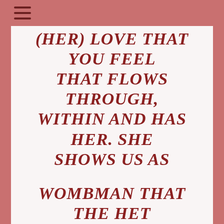(HER) LOVE THAT YOU FEEL THAT FLOWS THROUGH, WITHIN AND HAS HER. SHE SHOWS US AS
WOMBMAN THAT THE HET HERU LIVES WITHIN EACH ONE OF US AND THAT WE ARE HET HERU. I